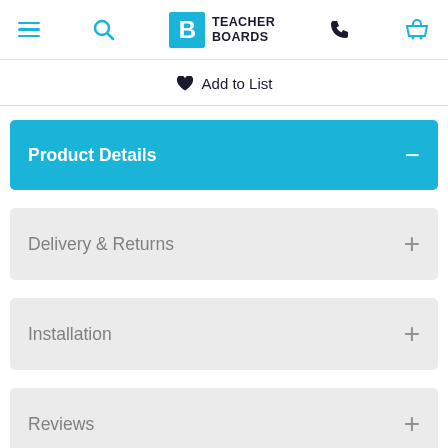Teacher Boards — navigation header with hamburger menu, search, logo, phone, and basket icons
♥ Add to List
Product Details
Delivery & Returns
Installation
Reviews